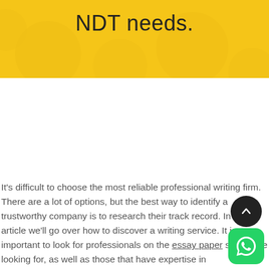NDT needs.
It's difficult to choose the most reliable professional writing firm. There are a lot of options, but the best way to identify a trustworthy company is to research their track record. In this article we'll go over how to discover a writing service. It is important to look for professionals on the essay paper site you're looking for, as well as those that have expertise in